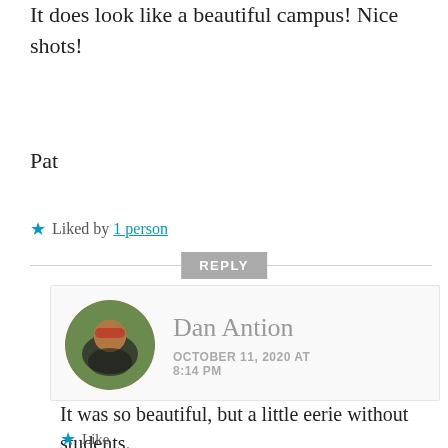It does look like a beautiful campus! Nice shots!
Pat
★ Liked by 1 person
REPLY
Dan Antion
OCTOBER 11, 2020 AT 8:14 PM
It was so beautiful, but a little eerie without students.
★ Like